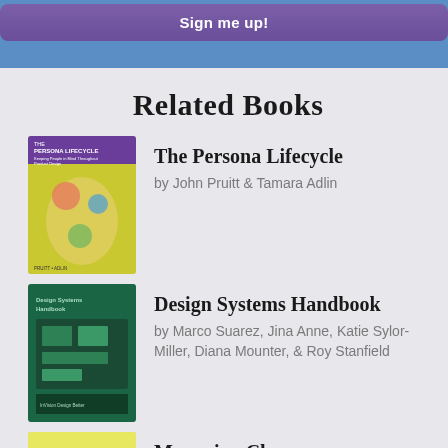[Figure (screenshot): Sign me up! button in purple on blue background]
Related Books
[Figure (photo): Book cover: The Persona Lifecycle]
The Persona Lifecycle
by John Pruitt & Tamara Adlin
[Figure (photo): Book cover: Design Systems Handbook]
Design Systems Handbook
by Marco Suarez, Jina Anne, Katie Sylor-Miller, Diana Mounter, & Roy Stanfield
[Figure (photo): Book cover: Managing Chaos]
Managing Chaos
by Lisa Welchman
[Figure (photo): Book cover: Art Direction for the Web]
Art Direction for the Web
by Andy Clarke